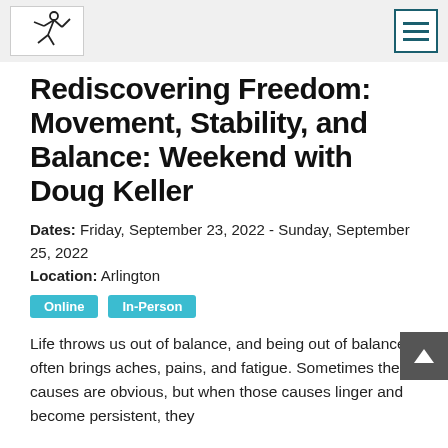[Logo: figure/dancer icon] [Hamburger menu button]
Rediscovering Freedom: Movement, Stability, and Balance: Weekend with Doug Keller
Dates: Friday, September 23, 2022 - Sunday, September 25, 2022
Location: Arlington
Online  In-Person
Life throws us out of balance, and being out of balance often brings aches, pains, and fatigue. Sometimes the causes are obvious, but when those causes linger and become persistent, they